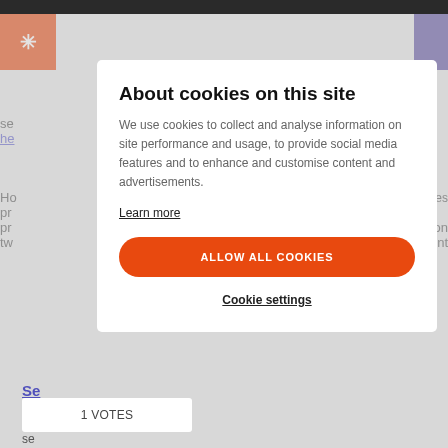About cookies on this site
We use cookies to collect and analyse information on site performance and usage, to provide social media features and to enhance and customise content and advertisements.
Learn more
ALLOW ALL COOKIES
Cookie settings
1 VOTES